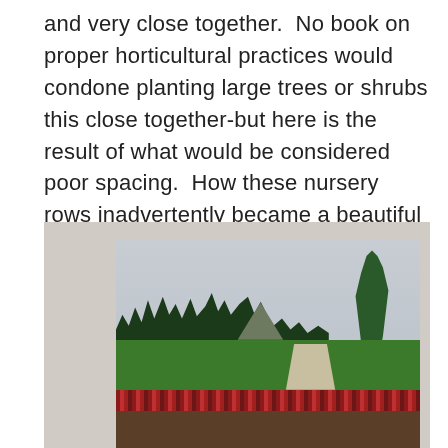and very close together.  No book on proper horticultural practices would condone planting large trees or shrubs this close together-but here is the result of what would be considered poor spacing.  How these nursery rows inadvertently became a beautiful landscape feature inspires me.  I have been waiting since the first day I saw this picture for a client to come along that would be as excited reinterpeting this idea as I am.  I feel sure the time will come.
[Figure (photo): A photograph showing a landscape scene with rows of red flowers in the foreground, green meadows in the middle ground, a line of dark green trees along the left and center, tall poplar trees on the right, and a mountain or hill visible in the background under an overcast grey sky.]